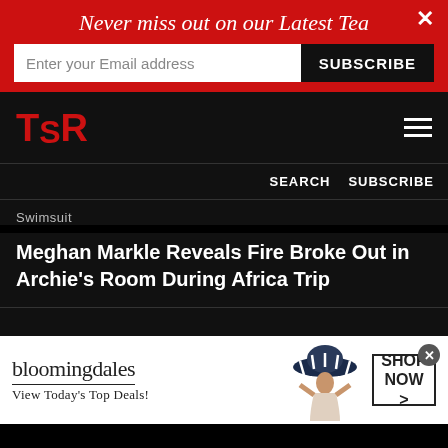Never miss out on our Latest Tea
Enter your Email address
SUBSCRIBE
[Figure (logo): TSR logo in red letters on black background]
SEARCH   SUBSCRIBE
Swimsuit
Meghan Markle Reveals Fire Broke Out in Archie's Room During Africa Trip
[Figure (photo): Bloomingdales advertisement showing a woman in a large blue hat with SHOP NOW button]